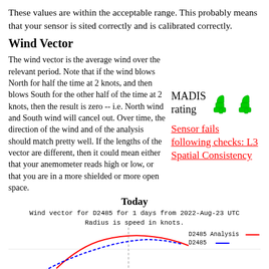These values are within the acceptable range. This probably means that your sensor is sited correctly and is calibrated correctly.
Wind Vector
The wind vector is the average wind over the relevant period. Note that if the wind blows North for half the time at 2 knots, and then blows South for the other half of the time at 2 knots, then the result is zero -- i.e. North wind and South wind will cancel out. Over time, the direction of the wind and of the analysis should match pretty well. If the lengths of the vector are different, then it could mean either that your anemometer reads high or low, or that you are in a more shielded or more open space.
[Figure (infographic): MADIS rating with two green thumbs-down icons]
Sensor fails following checks: L3 Spatial Consistency
Today
Wind vector for D2485 for 1 days from 2022-Aug-23 UTC
Radius is speed in knots.
[Figure (continuous-plot): Partial wind vector polar plot for D2485, showing Analysis (red) and D2485 (blue) traces]